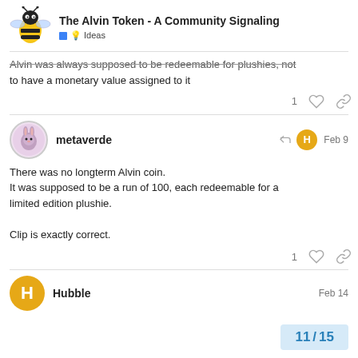The Alvin Token - A Community Signaling | 💡 Ideas
Alvin was always supposed to be redeemable for plushies, not to have a monetary value assigned to it
metaverde Feb 9
There was no longterm Alvin coin.
It was supposed to be a run of 100, each redeemable for a limited edition plushie.

Clip is exactly correct.
Hubble Feb 14
11 / 15